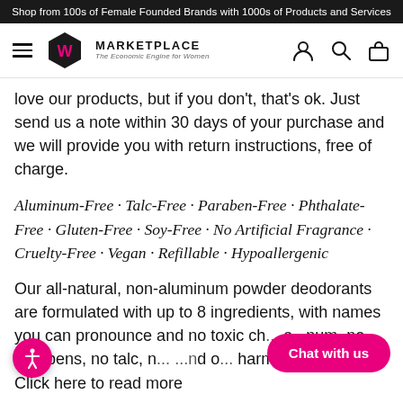Shop from 100s of Female Founded Brands with 1000s of Products and Services
[Figure (logo): W Marketplace logo with hexagon icon, hamburger menu, and nav icons]
love our products, but if you don't, that's ok. Just send us a note within 30 days of your purchase and we will provide you with return instructions, free of charge.
Aluminum-Free · Talc-Free · Paraben-Free · Phthalate-Free · Gluten-Free · Soy-Free · No Artificial Fragrance · Cruelty-Free · Vegan · Refillable · Hypoallergenic
Our all-natural, non-aluminum powder deodorants are formulated with up to 8 ingredients, with names you can pronounce and no toxic ch... a...num, no parabens, no talc, n... ...nd o... harmful ingredients. Click here to read more about our ingredients.